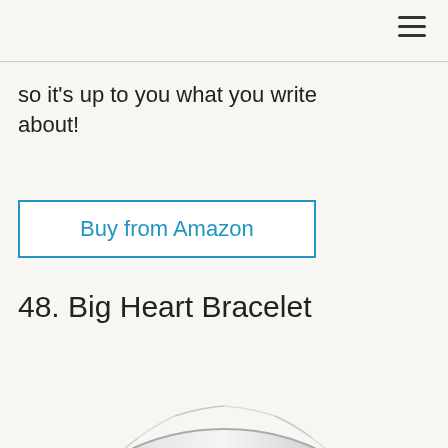so it's up to you what you write about!
Buy from Amazon
48. Big Heart Bracelet
[Figure (photo): Top portion of a silver twisted/braided heart bracelet against white background]